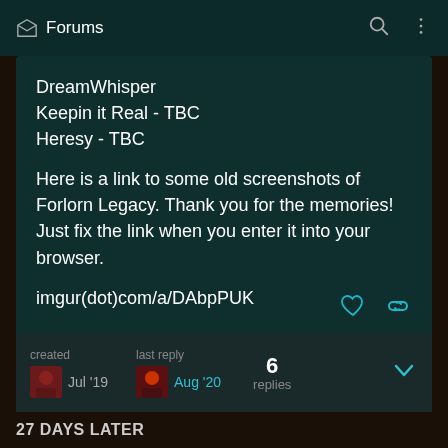Forums
DreamWhisper
Keepin it Real - TBC
Heresy - TBC
Here is a link to some old screenshots of Forlorn Legacy. Thank you for the memories! Just fix the link when you enter it into your browser.
imgur(dot)com/a/DAbpPUK
created  Jul '19   last reply  Aug '20   6 replies
27 DAYS LATER